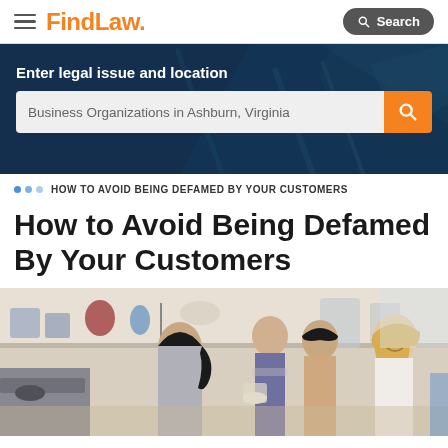FindLaw. [hamburger menu] [Search button]
[Figure (screenshot): FindLaw website hero banner with search bar showing 'Business Organizations in Ashburn, Virginia']
Enter legal issue and location
Business Organizations in Ashburn, Virginia
HOW TO AVOID BEING DEFAMED BY YOUR CUSTOMERS
How to Avoid Being Defamed By Your Customers
[Figure (photo): Photo of a restaurant/cafe scene showing a female server with dark hair in a ponytail assisting several customers including a man, a woman with short dark hair, and a blonde woman.]